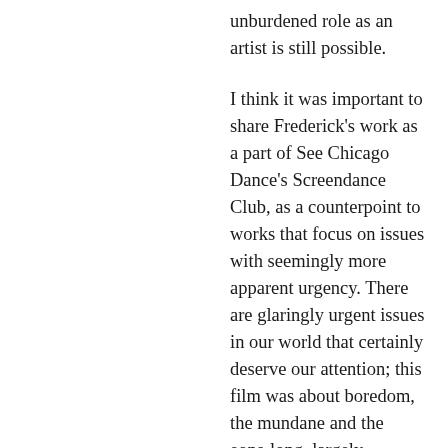unburdened role as an artist is still possible.

I think it was important to share Frederick's work as a part of See Chicago Dance's Screendance Club, as a counterpoint to works that focus on issues with seemingly more apparent urgency. There are glaringly urgent issues in our world that certainly deserve our attention; this film was about boredom, the mundane and the eons-long, largely invisible work of women and mothers that becomes increasingly so under late capitalism. The urgency of this work is in making it visible and shareable, and in being present with the boredom. I'm thankful for Frederick's vulnerable performance